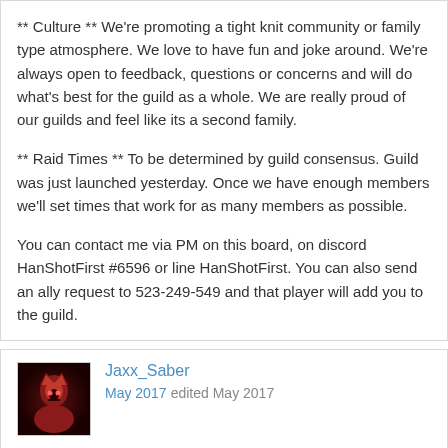** Culture ** We're promoting a tight knit community or family type atmosphere. We love to have fun and joke around. We're always open to feedback, questions or concerns and will do what's best for the guild as a whole. We are really proud of our guilds and feel like its a second family.
** Raid Times ** To be determined by guild consensus. Guild was just launched yesterday. Once we have enough members we'll set times that work for as many members as possible.
You can contact me via PM on this board, on discord HanShotFirst #6596 or line HanShotFirst. You can also send an ally request to 523-249-549 and that player will add you to the guild.
Jaxx_Saber
May 2017 edited May 2017
The Sons of Dathomir are a friendly & active Guild.
We are striving to reach the top of the leaderboards and have